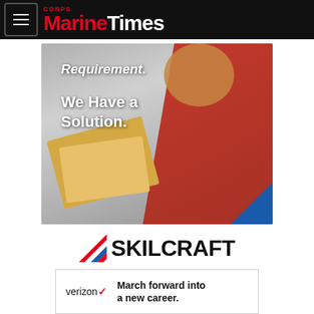Marine Corps Times
[Figure (photo): Advertisement photo of a woman in a red blazer holding manila folders and papers, with text overlay reading 'Requirement. We Have a Solution.' and a blue triangle in the bottom corner.]
[Figure (logo): SKILCRAFT logo with red, white and blue chevron/flag icon to the left of bold black SKILCRAFT wordmark.]
EXCEPTIONAL
[Figure (logo): Verizon advertisement banner with Verizon logo and text: March forward into a new career.]